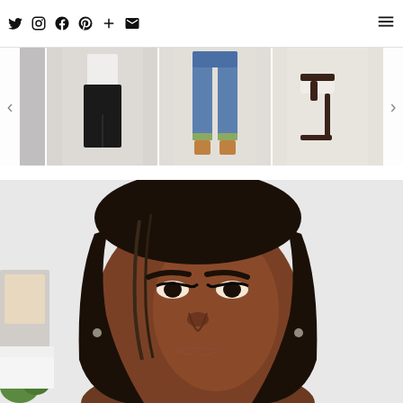Social media navigation bar with Twitter, Instagram, Facebook, Pinterest, Plus, Email icons and hamburger menu
[Figure (photo): Horizontal carousel strip showing fashion product images: black trousers outfit, blue jeans, and high heel shoes with navigation arrows on sides]
[Figure (photo): Portrait photo of a young Black woman with straight dark hair, bold eyebrows, cat-eye eyeliner, hoop earrings, looking directly at camera, taken in a room with white walls and green plants visible in background]